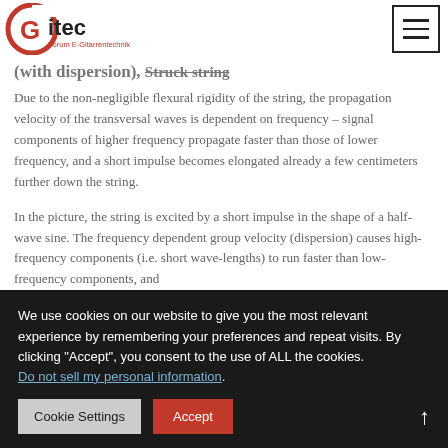Gitec Forum E-Gitarrentechnik
(with dispersion), Struck string
Due to the non-negligible flexural rigidity of the string, the propagation velocity of the transversal waves is dependent on frequency – signal components of higher frequency propagate faster than those of lower frequency, and a short impulse becomes elongated already a few centimeters further down the string.
In the picture, the string is excited by a short impulse in the shape of a half-wave sine. The frequency dependent group velocity (dispersion) causes high-frequency components (i.e. short wave-lengths) to run faster than low-frequency components, and
We use cookies on our website to give you the most relevant experience by remembering your preferences and repeat visits. By clicking “Accept”, you consent to the use of ALL the cookies. Do not sell my personal information.